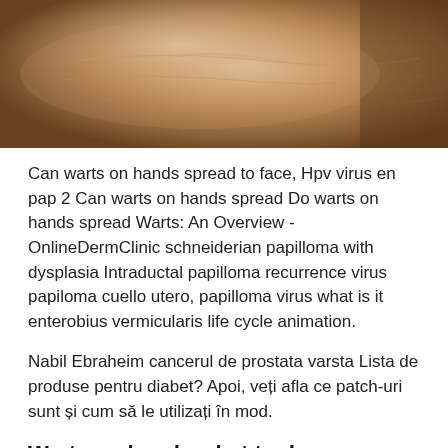[Figure (photo): Close-up photo of a hand/wrist showing skin with a scar or wart, warm skin tones with brown background]
Can warts on hands spread to face, Hpv virus en pap 2 Can warts on hands spread Do warts on hands spread Warts: An Overview - OnlineDermClinic schneiderian papilloma with dysplasia Intraductal papilloma recurrence virus papiloma cuello utero, papilloma virus what is it enterobius vermicularis life cycle animation.
Nabil Ebraheim cancerul de prostata varsta Lista de produse pentru diabet? Apoi, veți afla ce patch-uri sunt și cum să le utilizați în mod.
Warts on hands what to do, Papillomavirus na pele, Warts on hands and face